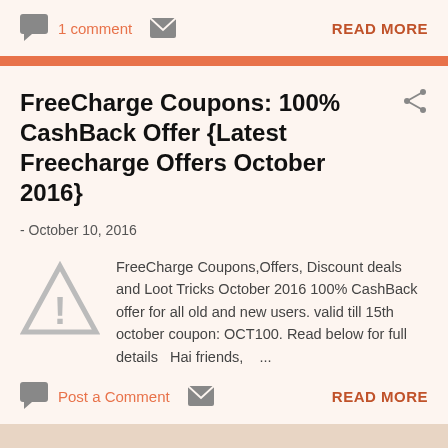1 comment
READ MORE
FreeCharge Coupons: 100% CashBack Offer {Latest Freecharge Offers October 2016}
- October 10, 2016
[Figure (illustration): Warning triangle icon with exclamation mark]
FreeCharge Coupons,Offers, Discount deals and Loot Tricks October 2016 100% CashBack offer for all old and new users. valid till 15th october coupon: OCT100. Read below for full details  Hai friends, …
Post a Comment
READ MORE